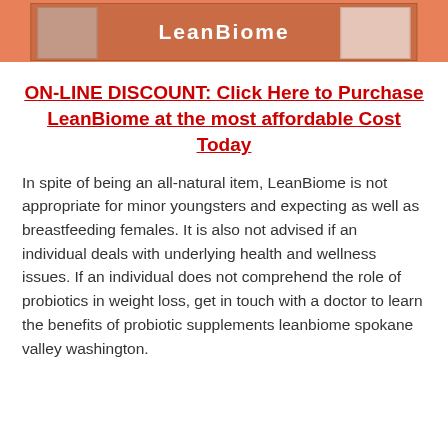[Figure (photo): Product image of LeanBiome supplement bottle/packaging with orange background showing label details]
ON-LINE DISCOUNT: Click Here to Purchase LeanBiome at the most affordable Cost Today
In spite of being an all-natural item, LeanBiome is not appropriate for minor youngsters and expecting as well as breastfeeding females. It is also not advised if an individual deals with underlying health and wellness issues. If an individual does not comprehend the role of probiotics in weight loss, get in touch with a doctor to learn the benefits of probiotic supplements leanbiome spokane valley washington.